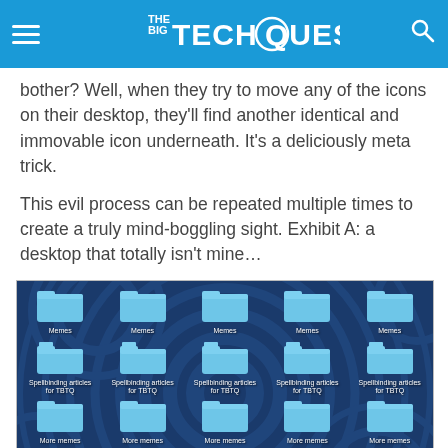The Big Tech Question
bother? Well, when they try to move any of the icons on their desktop, they'll find another identical and immovable icon underneath. It's a deliciously meta trick.
This evil process can be repeated multiple times to create a truly mind-boggling sight. Exhibit A: a desktop that totally isn't mine…
[Figure (screenshot): Screenshot of a Windows desktop showing a dark blue swirling pattern background with multiple rows of identical folder icons in a 5-column grid. Row 1: 5 folders labeled 'Memes'. Row 2: 5 folders labeled 'Spellbinding articles for TBTQ'. Row 3: 5 folders labeled 'More memes'. Row 4 (partial): 5 folders labeled 'Cat pictures'.]